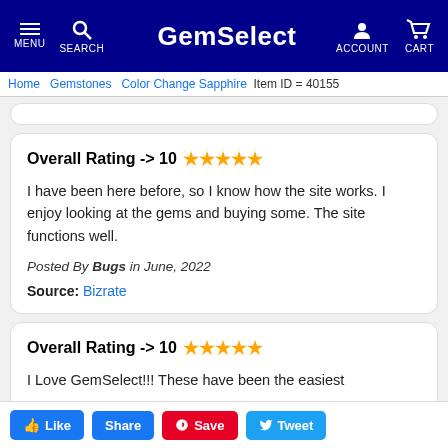GemSelect — MENU, SEARCH, ACCOUNT, CART
Home > Gemstones > Color Change Sapphire | Item ID = 40155
Overall Rating -> 10 ★★★★★
I have been here before, so I know how the site works. I enjoy looking at the gems and buying some. The site functions well.
Posted By Bugs in June, 2022
Source: Bizrate
Overall Rating -> 10 ★★★★★
I Love GemSelect!!! These have been the easiest